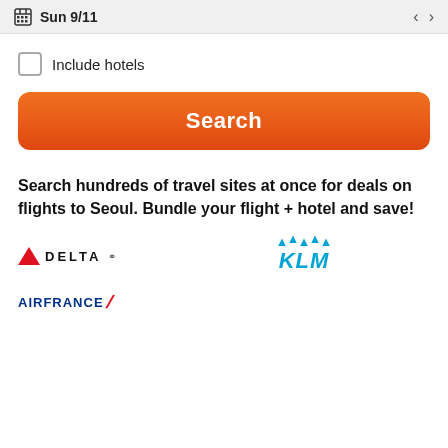Sun 9/11
Include hotels
Search
Search hundreds of travel sites at once for deals on flights to Seoul. Bundle your flight + hotel and save!
[Figure (logo): Delta airline logo with red triangle and DELTA text]
[Figure (logo): KLM airline logo with blue crown and KLM text in blue italic]
[Figure (logo): Air France airline logo with blue AIRFRANCE text and red swoosh]